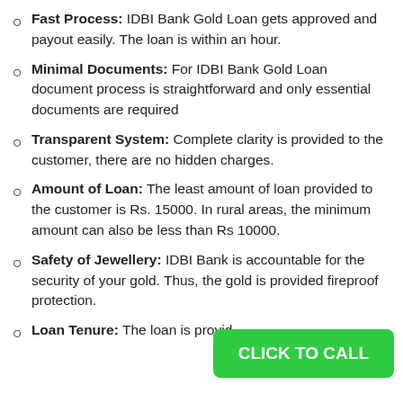Fast Process: IDBI Bank Gold Loan gets approved and payout easily. The loan is within an hour.
Minimal Documents: For IDBI Bank Gold Loan document process is straightforward and only essential documents are required
Transparent System: Complete clarity is provided to the customer, there are no hidden charges.
Amount of Loan: The least amount of loan provided to the customer is Rs. 15000. In rural areas, the minimum amount can also be less than Rs 10000.
Safety of Jewellery: IDBI Bank is accountable for the security of your gold. Thus, the gold is provided fireproof protection.
Loan Tenure: The loan is provided for the term from 3 months to 2 years.